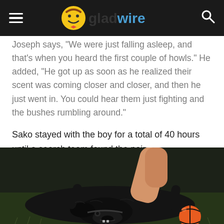gladwire
Joseph says, "We were just falling asleep, and that's when you heard the first couple of howls." He added, "He got up as soon as he realized their scent was coming closer and closer, and then he just went in. You could hear them just fighting and the bushes rumbling around."
Sako stayed with the boy for a total of 40 hours until a search team found the pair.
[Figure (photo): A large black dog lying on its back on grass, being petted by a person's hand, with an orange basketball visible in the lower right corner.]